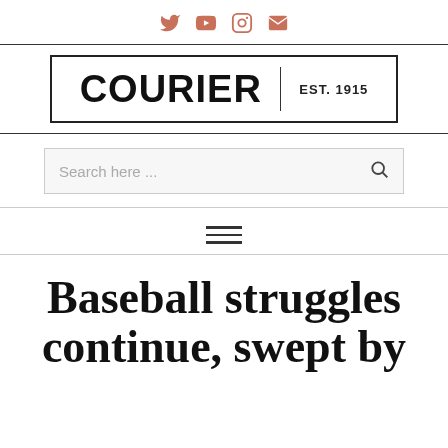Social icons: Twitter, YouTube, Instagram, Email
COURIER | EST. 1915
Search here ...
Baseball struggles continue, swept by